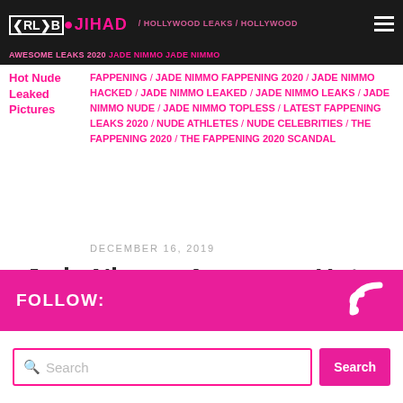CELEB-JIHAD / HOLLYWOOD LEAKS / HOLLYWOOD
Awesome LEAKS 2020 JADE NIMMO JADE NIMMO
Hot Nude Leaked Pictures
FAPPENING / JADE NIMMO FAPPENING 2020 / JADE NIMMO HACKED / JADE NIMMO LEAKED / JADE NIMMO LEAKS / JADE NIMMO NUDE / JADE NIMMO TOPLESS / LATEST FAPPENING LEAKS 2020 / NUDE ATHLETES / NUDE CELEBRITIES / THE FAPPENING 2020 / THE FAPPENING 2020 SCANDAL
DECEMBER 16, 2019
Jade Nimmo Awesome Hot Nude Leaked Pictures
FOLLOW:
Search